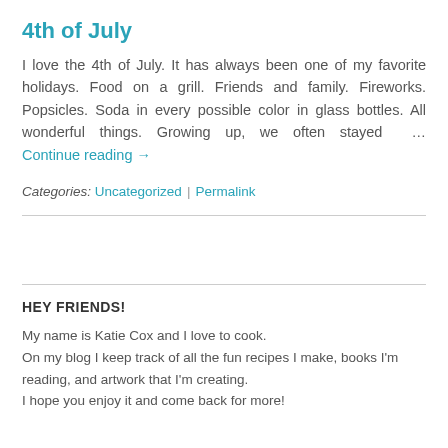4th of July
I love the 4th of July. It has always been one of my favorite holidays. Food on a grill. Friends and family. Fireworks. Popsicles. Soda in every possible color in glass bottles. All wonderful things. Growing up, we often stayed … Continue reading →
Categories: Uncategorized | Permalink
HEY FRIENDS!
My name is Katie Cox and I love to cook.
On my blog I keep track of all the fun recipes I make, books I'm reading, and artwork that I'm creating.
I hope you enjoy it and come back for more!